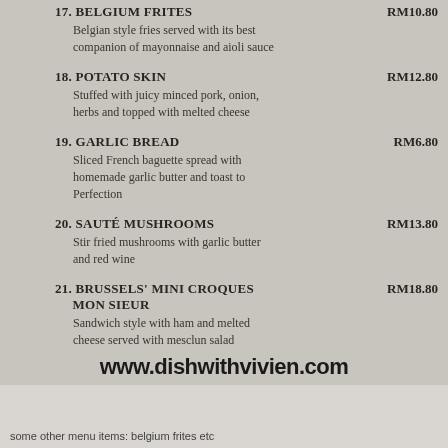17. BELGIUM FRITES — RM10.80
Belgian style fries served with its best companion of mayonnaise and aioli sauce
18. POTATO SKIN — RM12.80
Stuffed with juicy minced pork, onion, herbs and topped with melted cheese
19. GARLIC BREAD — RM6.80
Sliced French baguette spread with homemade garlic butter and toast to Perfection
20. SAUTÉ MUSHROOMS — RM13.80
Stir fried mushrooms with garlic butter and red wine
21. BRUSSELS' MINI CROQUES MON SIEUR — RM18.80
Sandwich style with ham and melted cheese served with mesclun salad
www.dishwithvivien.com
some other menu items: belgium frites etc